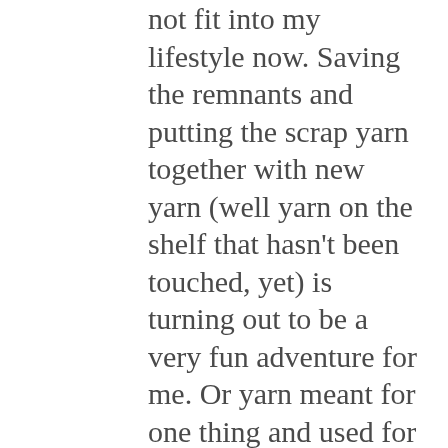not fit into my lifestyle now. Saving the remnants and putting the scrap yarn together with new yarn (well yarn on the shelf that hasn't been touched, yet) is turning out to be a very fun adventure for me. Or yarn meant for one thing and used for another makes it seem like it is new. Yarn is sorted and all of it is visible to the eye so that I can treat the stash shelf much like I am in a yarn store. Stay tuned for the next project and you can see that while this is fun, it sometimes can get tricky. The beauty of